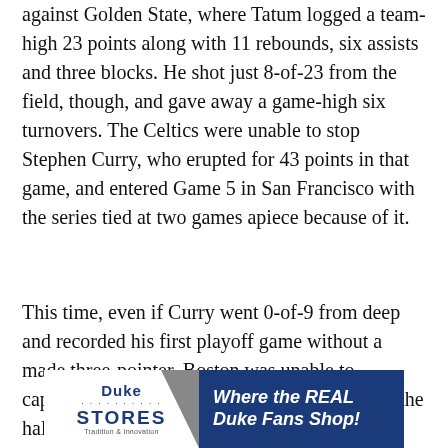against Golden State, where Tatum logged a team-high 23 points along with 11 rebounds, six assists and three blocks. He shot just 8-of-23 from the field, though, and gave away a game-high six turnovers. The Celtics were unable to stop Stephen Curry, who erupted for 43 points in that game, and entered Game 5 in San Francisco with the series tied at two games apiece because of it.
This time, even if Curry went 0-of-9 from deep and recorded his first playoff game without a made three-pointer, Boston was unable to capitalize and Golden State led by 12 points at the half. The Celtics had a strong third quarter and went on a 19-4 run to take their first lead, but a Jordan Poole buzzer-beating bank three at the end of the period stopped Boston's advance [ad overlay] ke contro [ad overlay] ored
[Figure (other): Duke Stores advertisement banner: white logo area with Duke Stores text and dotted lines, grey triangle, blue background with italic text 'Where the REAL Duke Fans Shop!']